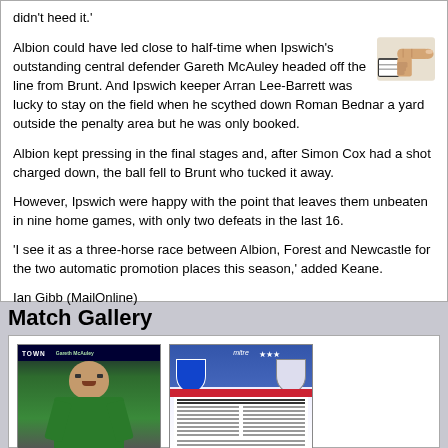didn't heed it.'
Albion could have led close to half-time when Ipswich's outstanding central defender Gareth McAuley headed off the line from Brunt. And Ipswich keeper Arran Lee-Barrett was lucky to stay on the field when he scythed down Roman Bednar a yard outside the penalty area but he was only booked.
Albion kept pressing in the final stages and, after Simon Cox had a shot charged down, the ball fell to Brunt who tucked it away.
However, Ipswich were happy with the point that leaves them unbeaten in nine home games, with only two defeats in the last 16.
'I see it as a three-horse race between Albion, Forest and Newcastle for the two automatic promotion places this season,' added Keane.
Ian Gibb (MailOnline)
Match Gallery
[Figure (photo): Photo of a footballer wearing a green goalkeeper kit, mouth open, appearing to shout, with a TOWN banner visible at the top]
[Figure (photo): Match programme or team sheet showing Ipswich Town badge and what appears to be a match lineup, with Mitre branding at the top]